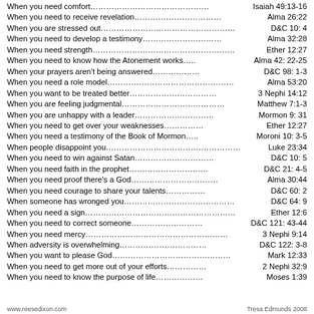When you need comfort…………………………………Isaiah 49:13-16
When you need to receive revelation………………………Alma 26:22
When you are stressed out…………………………………D&C 10: 4
When you need to develop a testimony…………………Alma 32:28
When you need strength……………………………………Ether 12:27
When you need to know how the Atonement works…..Alma 42: 22-25
When your prayers aren't being answered………………D&C 98: 1-3
When you need a role model……………………………Alma 53:20
When you want to be treated better……………………3 Nephi 14:12
When you are feeling judgmental………………………Matthew 7:1-3
When you are unhappy with a leader…………………Mormon 9: 31
When you need to get over your weaknesses……………Ether 12:27
When you need a testimony of the Book of Mormon…..Moroni 10: 3-5
When people disappoint you……………………………Luke 23:34
When you need to win against Satan……………………D&C 10: 5
When you need faith in the prophet……………………D&C 21: 4-5
When you need proof there's a God……………………Alma 30:44
When you need courage to share your talents……………D&C 60: 2
When someone has wronged you………………………D&C 64: 9
When you need a sign……………………………………Ether 12:6
When you need to correct someone……………………D&C 121: 43-44
When you need mercy……………………………………3 Nephi 9:14
When adversity is overwhelming………………………D&C 122: 3-8
When you want to please God…………………………Mark 12:33
When you need to get more out of your efforts……………2 Nephi 32:9
When you need to know the purpose of life………………Moses 1:39
www.reesedixon.com                                    Tresa Edmunds 2008